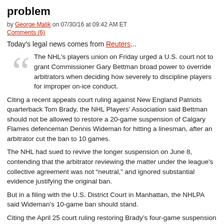problem
by George Malik on 07/30/16 at 09:42 AM ET
Comments (6)
Today's legal news comes from Reuters...
The NHL's players union on Friday urged a U.S. court not to grant Commissioner Gary Bettman broad power to override arbitrators when deciding how severely to discipline players for improper on-ice conduct.
Citing a recent appeals court ruling against New England Patriots quarterback Tom Brady, the NHL Players' Association said Bettman should not be allowed to restore a 20-game suspension of Calgary Flames defenceman Dennis Wideman for hitting a linesman, after an arbitrator cut the ban to 10 games.
The NHL had sued to revive the longer suspension on June 8, contending that the arbitrator reviewing the matter under the league's collective agreement was not “neutral,” and ignored substantial evidence justifying the original ban.
But in a filing with the U.S. District Court in Manhattan, the NHLPA said Wideman’s 10-game ban should stand.
Citing the April 25 court ruling restoring Brady’s four-game suspension from the NFL for deflating footballs, the union said federal courts have only “narrowly circumscribed” authority to review labor arbitration decisions.